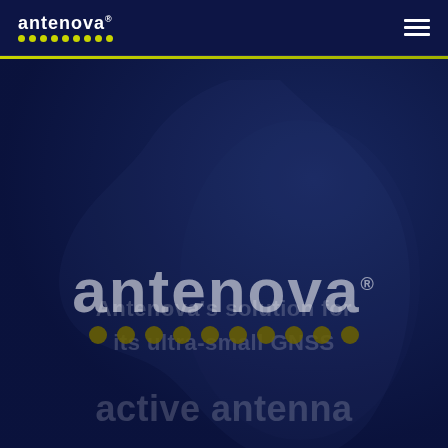antenova
[Figure (logo): Antenova logo with text 'antenova' and yellow/green dots beneath, centered large on dark navy background with registration mark]
Antenova's solution for its ultra-small GNSS active antenna